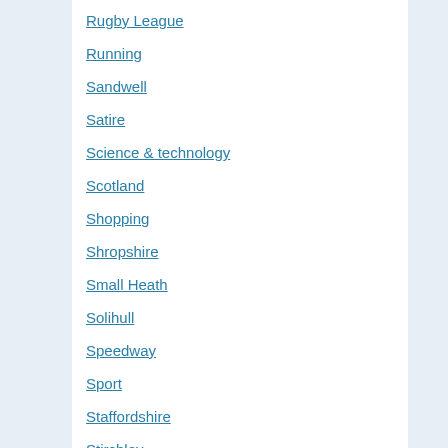Rugby League
Running
Sandwell
Satire
Science & technology
Scotland
Shopping
Shropshire
Small Heath
Solihull
Speedway
Sport
Staffordshire
Stirchley
Stratford-upon-Avon
Style and Design